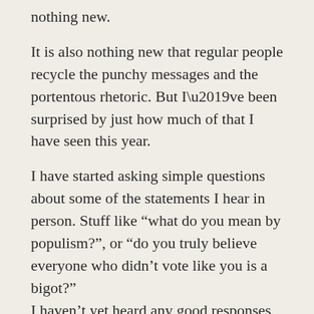nothing new.
It is also nothing new that regular people recycle the punchy messages and the portentous rhetoric. But I’ve been surprised by just how much of that I have seen this year.
I have started asking simple questions about some of the statements I hear in person. Stuff like “what do you mean by populism?”, or “do you truly believe everyone who didn’t vote like you is a bigot?”
I haven’t yet heard any good responses to this type of question.
This use of unnecessarily big words, I’m not sure where it comes from, but it immediately raises suspicions in me that the person talking